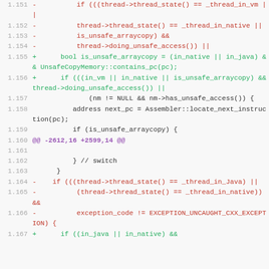Diff code block showing changes to thread state and unsafe arraycopy logic in a C++ source file, lines 1.151–1.167